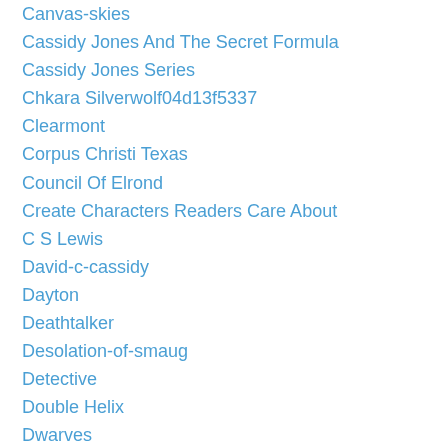Canvas-skies
Cassidy Jones And The Secret Formula
Cassidy Jones Series
Chkara Silverwolf04d13f5337
Clearmont
Corpus Christi Texas
Council Of Elrond
Create Characters Readers Care About
C S Lewis
David-c-cassidy
Dayton
Deathtalker
Desolation-of-smaug
Detective
Double Helix
Dwarves
Elf
Elise Stokes
Elves
Elyse-salpeter
Eru Illuvatar